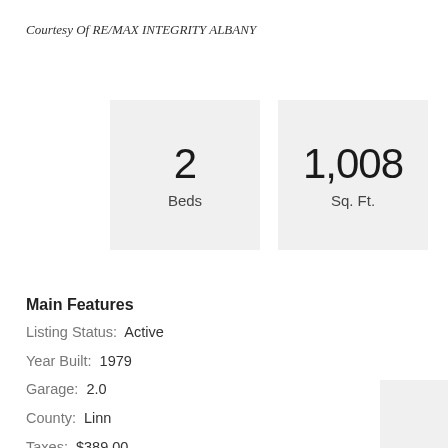Courtesy Of RE/MAX INTEGRITY ALBANY
2 Beds
1,008 Sq. Ft.
Main Features
Listing Status:   Active
Year Built:  1979
Garage:  2.0
County:  Linn
Taxes:  $389.00
MLS Number:  792310